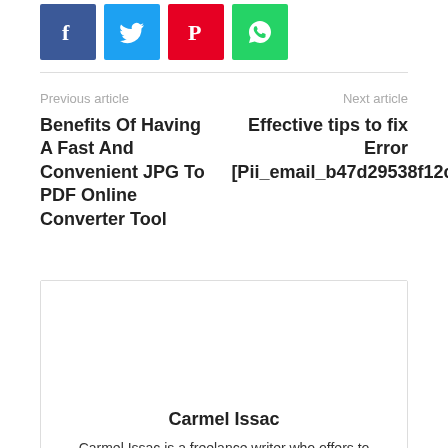[Figure (other): Social media share buttons: Facebook (blue), Twitter (light blue), Pinterest (red), WhatsApp (green)]
Previous article
Next article
Benefits Of Having A Fast And Convenient JPG To PDF Online Converter Tool
Effective tips to fix Error [Pii_email_b47d29538f12c20da426]
Carmel Issac
Carmel Issac is a freelance writer who offers to ghostwrite, copywriting, and blogging services. She works closely with B2C and B2B businesses providing digital marketing content that gains social